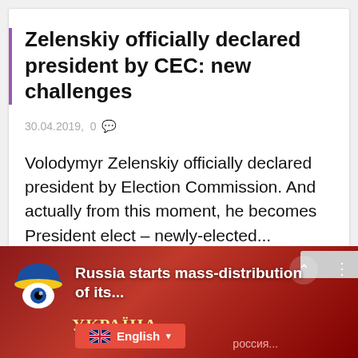Zelenskiy officially declared president by CEC: new challenges
30.04.2019,  0
Volodymyr Zelenskiy officially declared president by Election Commission. And actually from this moment, he becomes President elect – newly-elected...
♡  0 likes
Read more
[Figure (screenshot): Banner image showing Ukrainian and Russian passports with a logo overlay and text 'Russia starts mass-distribution of its...' with English language selector button]